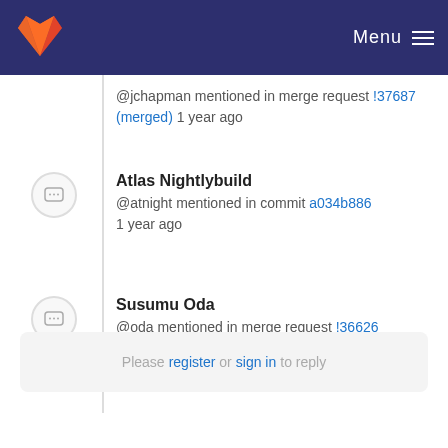GitLab — Menu
@jchapman mentioned in merge request !37687 (merged) 1 year ago
Atlas Nightlybuild
@atnight mentioned in commit a034b886
1 year ago
Susumu Oda
@oda mentioned in merge request !36626 (merged) 1 year ago
Please register or sign in to reply